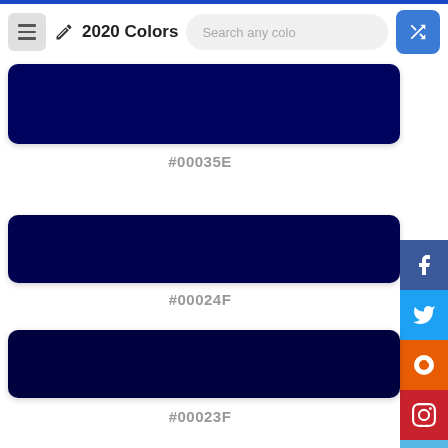2020 Colors — Search any color — Navigation header
[Figure (other): Color swatch showing #00035E dark navy blue]
#00035E
[Figure (other): Color swatch showing #00024F dark navy blue]
#00024F
[Figure (other): Color swatch showing #00023F dark navy blue]
#00023F